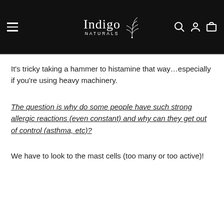Indigo Naturals
It's tricky taking a hammer to histamine that way…especially if you're using heavy machinery.
The question is why do some people have such strong allergic reactions (even constant) and why can they get out of control (asthma, etc)?
We have to look to the mast cells (too many or too active)!